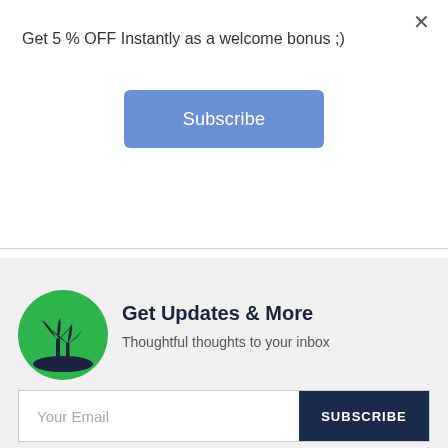×
Get 5 % OFF Instantly as a welcome bonus ;)
[Figure (other): Blue Subscribe button]
[Figure (logo): Green circle logo with palm tree and crescent moon design]
Get Updates & More
Thoughtful thoughts to your inbox
Your Email
SUBSCRIBE